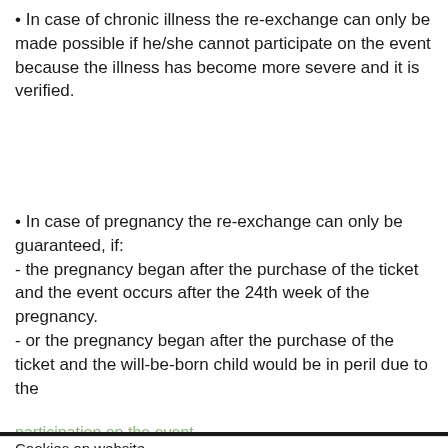• In case of chronic illness the re-exchange can only be made possible if he/she cannot participate on the event because the illness has become more severe and it is verified.
• In case of pregnancy the re-exchange can only be guaranteed, if:
- the pregnancy began after the purchase of the ticket and the event occurs after the 24th week of the pregnancy.
- or the pregnancy began after the purchase of the ticket and the will-be-born child would be in peril due to the
participation on the event
Cookies on website
Our website uses cookies to enhance your experience, details about cookies used on our website are available under cookie policy.
Accept  ⚙ Change settings
it is not possible to participate on the event because of illness or eliminate participation support, if the entry to the event has happened or the event is over.